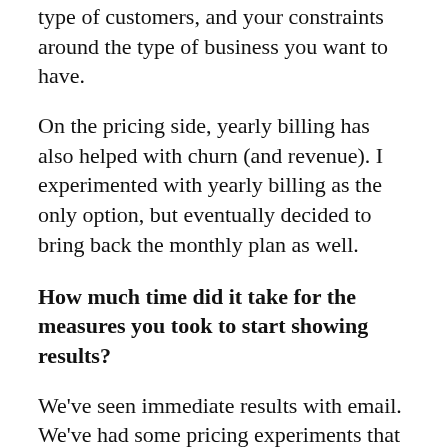type of customers, and your constraints around the type of business you want to have.
On the pricing side, yearly billing has also helped with churn (and revenue). I experimented with yearly billing as the only option, but eventually decided to bring back the monthly plan as well.
How much time did it take for the measures you took to start showing results?
We've seen immediate results with email. We've had some pricing experiments that have spiked churn, but didn't know until several months in because you have to wait months to see the impact. It's the same thing for most features we've added into the product to help